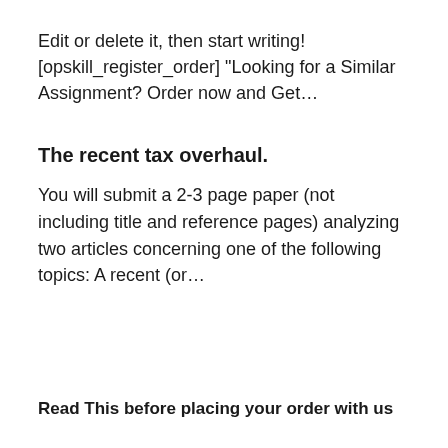Edit or delete it, then start writing! [opskill_register_order] "Looking for a Similar Assignment? Order now and Get…
The recent tax overhaul.
You will submit a 2-3 page paper (not including title and reference pages) analyzing two articles concerning one of the following topics: A recent (or…
Read This before placing your order with us